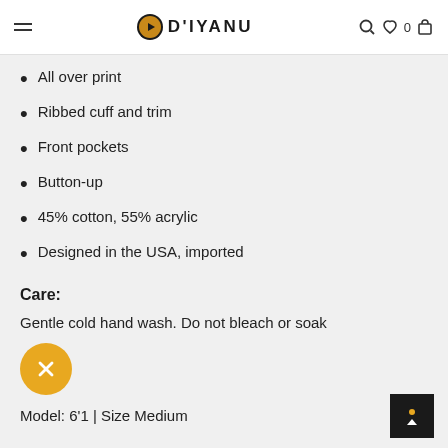D'IYANU
All over print
Ribbed cuff and trim
Front pockets
Button-up
45% cotton, 55% acrylic
Designed in the USA, imported
Care:
Gentle cold hand wash. Do not bleach or soak
Model: 6'1 | Size Medium